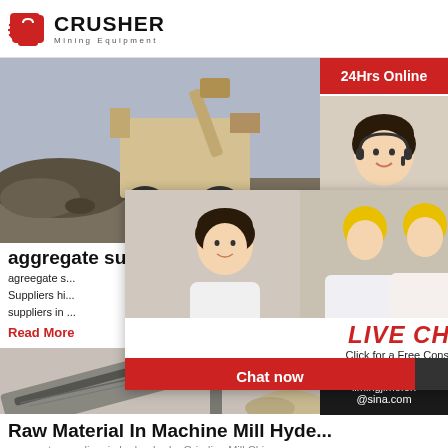[Figure (logo): Crusher Mining Equipment logo with red shopping bag icon and bold CRUSHER text]
[Figure (photo): Outdoor photo of a large industrial rock crusher machine at work on a rocky site]
aggregate suppliers in hyderabad
agreegate s... Suppliers hi... suppliers in...
Read More
[Figure (photo): Industrial conveyor belt system transporting material at an aggregate or mining facility]
Raw Material In Machine Mill Hyde...
aggregate suppliers in hyderabad – Grinding Mill China
[Figure (infographic): Live Chat popup overlay with two worker photos, LIVE CHAT heading, Click for a Free Consultation subtitle, Chat now and Chat later buttons]
[Figure (infographic): Right sidebar showing 24Hrs Online banner, customer service representative photo, Need questions & suggestion box with Chat Now button, Enquiry section, and limingjlmofen@sina.com email]